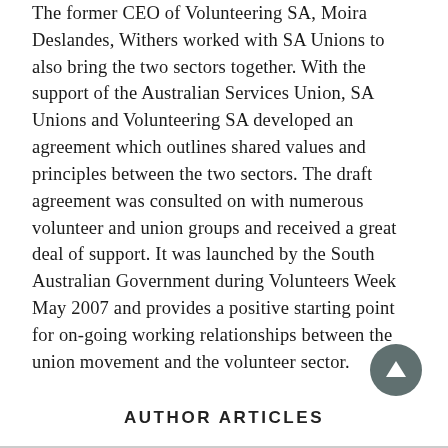The former CEO of Volunteering SA, Moira Deslandes, Withers worked with SA Unions to also bring the two sectors together. With the support of the Australian Services Union, SA Unions and Volunteering SA developed an agreement which outlines shared values and principles between the two sectors. The draft agreement was consulted on with numerous volunteer and union groups and received a great deal of support. It was launched by the South Australian Government during Volunteers Week May 2007 and provides a positive starting point for on-going working relationships between the union movement and the volunteer sector.
AUTHOR ARTICLES